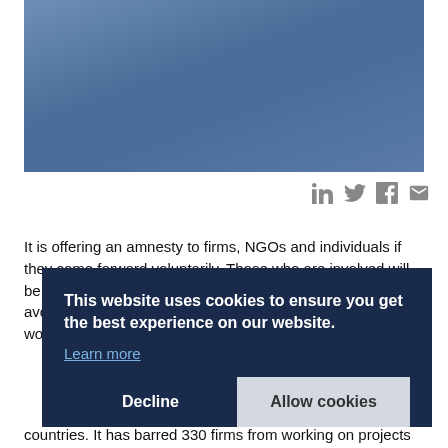[Figure (photo): Blue/steel-blue sky photograph filling the top portion of the page]
[Figure (infographic): Social sharing icons: LinkedIn, Twitter, Facebook, Email in gray]
It is offering an amnesty to firms, NGOs and individuals if they come forward voluntarily. Those who are involved will be blacklisted from future World Bank contracts, but may avoid it without being investigated by authorities. The Bank works in more than 100 countries. It has barred 330 firms from working on projects
This website uses cookies to ensure you get the best experience on our website. Learn more
Decline
Allow cookies